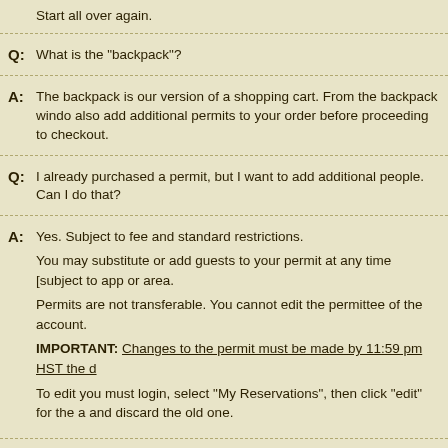Start all over again.
Q: What is the "backpack"?
A: The backpack is our version of a shopping cart. From the backpack window you can also add additional permits to your order before proceeding to checkout.
Q: I already purchased a permit, but I want to add additional people. Can I do that?
A: Yes. Subject to fee and standard restrictions.
You may substitute or add guests to your permit at any time [subject to app or area.
Permits are not transferable. You cannot edit the permittee of the account.
IMPORTANT: Changes to the permit must be made by 11:59 pm HST the d
To edit you must login, select "My Reservations", then click "edit" for the a and discard the old one.
Q: Can I change the dates of my permit?
A: Yes. Pending availability and subject to fees, you may change dates of an e
You may add additional days to an existing permit (up to the maximum allo
Additional lodging fees, as well as a change fee, will apply and must be p MORE THAN 7 DAYS PRIOR TO YOUR DATE OF CHECK-IN. WITHIN 7
However, cancellation or reductions in dates MUST BE MADE AT LEAST